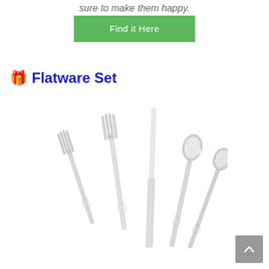sure to make them happy.
[Figure (other): Green 'Find it Here' button]
🎁 Flatware Set
[Figure (photo): A stainless steel flatware set including two forks, a knife, and two spoons arranged against a white background, with flamingo engravings on the handles.]
[Figure (other): Gray scroll-to-top button with upward chevron arrow in bottom right corner]